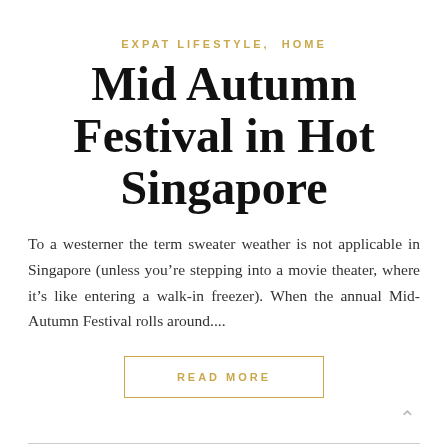EXPAT LIFESTYLE, HOME
Mid Autumn Festival in Hot Singapore
To a westerner the term sweater weather is not applicable in Singapore (unless you’re stepping into a movie theater, where it’s like entering a walk-in freezer). When the annual Mid-Autumn Festival rolls around....
READ MORE